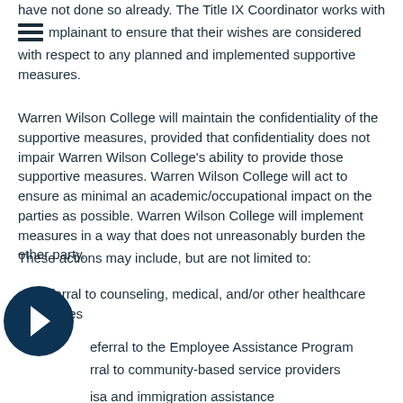have not done so already. The Title IX Coordinator works with the complainant to ensure that their wishes are considered with respect to any planned and implemented supportive measures.
Warren Wilson College will maintain the confidentiality of the supportive measures, provided that confidentiality does not impair Warren Wilson College's ability to provide those supportive measures. Warren Wilson College will act to ensure as minimal an academic/occupational impact on the parties as possible. Warren Wilson College will implement measures in a way that does not unreasonably burden the other party.
These actions may include, but are not limited to:
Referral to counseling, medical, and/or other healthcare services
Referral to the Employee Assistance Program
Referral to community-based service providers
Visa and immigration assistance